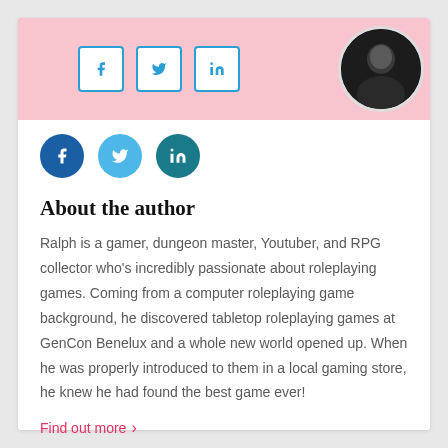[Figure (screenshot): Top banner with pink/red background, social media icons (Facebook, Twitter, LinkedIn outlined), and a circular profile photo of a man]
[Figure (illustration): Three social media icons: Facebook (dark blue circle), Twitter (light blue circle), LinkedIn (teal circle)]
About the author
Ralph is a gamer, dungeon master, Youtuber, and RPG collector who's incredibly passionate about roleplaying games. Coming from a computer roleplaying game background, he discovered tabletop roleplaying games at GenCon Benelux and a whole new world opened up. When he was properly introduced to them in a local gaming store, he knew he had found the best game ever!
Find out more  >